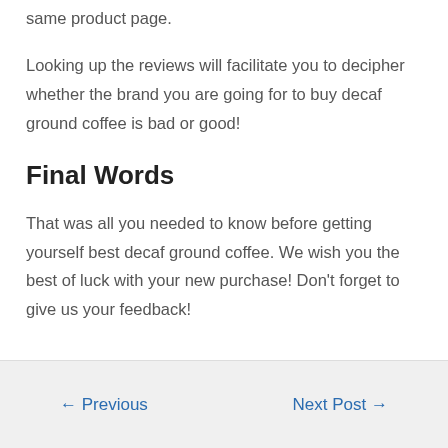same product page.
Looking up the reviews will facilitate you to decipher whether the brand you are going for to buy decaf ground coffee is bad or good!
Final Words
That was all you needed to know before getting yourself best decaf ground coffee. We wish you the best of luck with your new purchase! Don't forget to give us your feedback!
← Previous    Next Post →